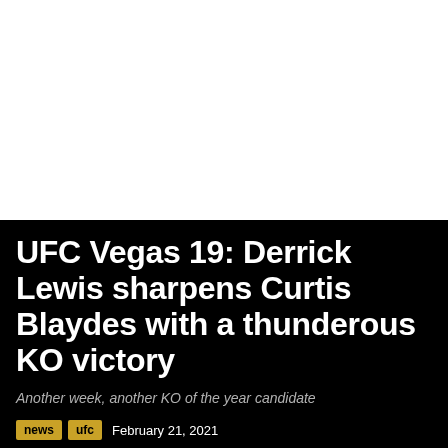[Figure (photo): Large photograph area (mostly white/blank in this view) occupying the top portion of the page]
UFC Vegas 19: Derrick Lewis sharpens Curtis Blaydes with a thunderous KO victory
Another week, another KO of the year candidate
news  UFC  February 21, 2021